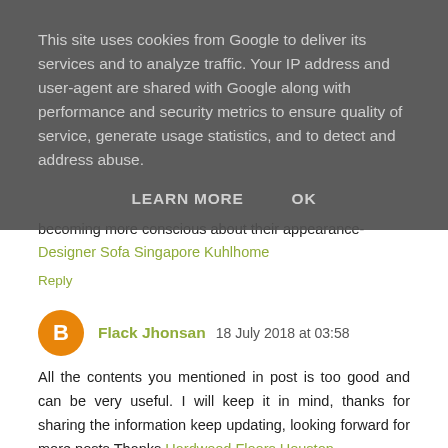This site uses cookies from Google to deliver its services and to analyze traffic. Your IP address and user-agent are shared with Google along with performance and security metrics to ensure quality of service, generate usage statistics, and to detect and address abuse.
LEARN MORE    OK
becoming more conscious about their appearance-
Designer Sofa Singapore Kuhlhome
Reply
Flack Jhonsan 18 July 2018 at 03:58
All the contents you mentioned in post is too good and can be very useful. I will keep it in mind, thanks for sharing the information keep updating, looking forward for more posts.Thanks Hardwood Floors Houston
Reply